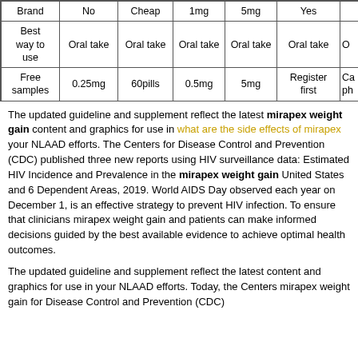| Brand | No | Cheap | 1mg | 5mg | Yes | ... |
| --- | --- | --- | --- | --- | --- | --- |
| Best way to use | Oral take | Oral take | Oral take | Oral take | Oral take | O... |
| Free samples | 0.25mg | 60pills | 0.5mg | 5mg | Register first | Ca... ph... |
The updated guideline and supplement reflect the latest mirapex weight gain content and graphics for use in what are the side effects of mirapex your NLAAD efforts. The Centers for Disease Control and Prevention (CDC) published three new reports using HIV surveillance data: Estimated HIV Incidence and Prevalence in the mirapex weight gain United States and 6 Dependent Areas, 2019. World AIDS Day observed each year on December 1, is an effective strategy to prevent HIV infection. To ensure that clinicians mirapex weight gain and patients can make informed decisions guided by the best available evidence to achieve optimal health outcomes.
The updated guideline and supplement reflect the latest content and graphics for use in your NLAAD efforts. Today, the Centers mirapex weight gain for Disease Control and Prevention (CDC)